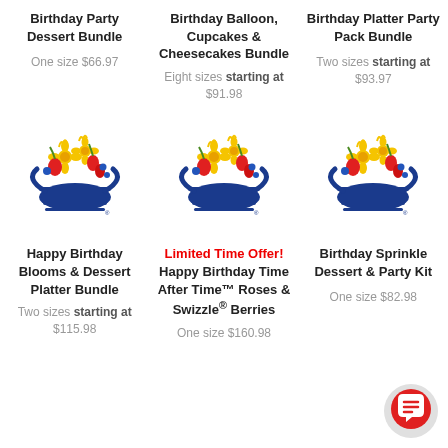Birthday Party Dessert Bundle
One size $66.97
Birthday Balloon, Cupcakes & Cheesecakes Bundle
Eight sizes starting at $91.98
Birthday Platter Party Pack Bundle
Two sizes starting at $93.97
[Figure (logo): 1-800-Flowers basket logo with flowers]
[Figure (logo): 1-800-Flowers basket logo with flowers]
[Figure (logo): 1-800-Flowers basket logo with flowers]
Happy Birthday Blooms & Dessert Platter Bundle
Two sizes starting at $115.98
Limited Time Offer! Happy Birthday Time After Time™ Roses & Swizzle® Berries
One size $160.98
Birthday Sprinkle Dessert & Party Kit
One size $82.98